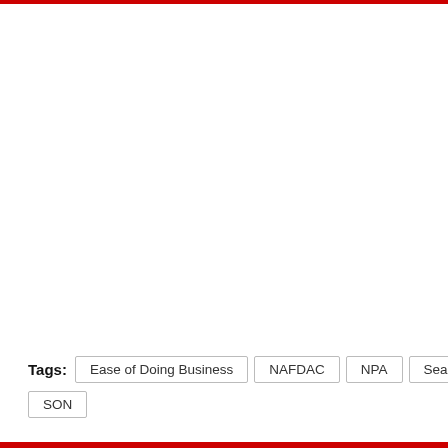Tags: Ease of Doing Business  NAFDAC  NPA  Seaports  SON